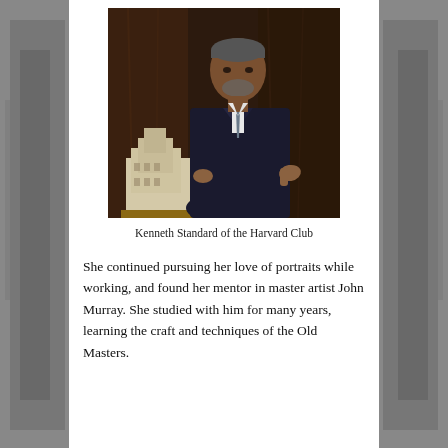[Figure (photo): Portrait of Kenneth Standard, a man in a dark suit standing next to an architectural building model, posed in front of dark wood paneling.]
Kenneth Standard of the Harvard Club
She continued pursuing her love of portraits while working, and found her mentor in master artist John Murray. She studied with him for many years, learning the craft and techniques of the Old Masters.